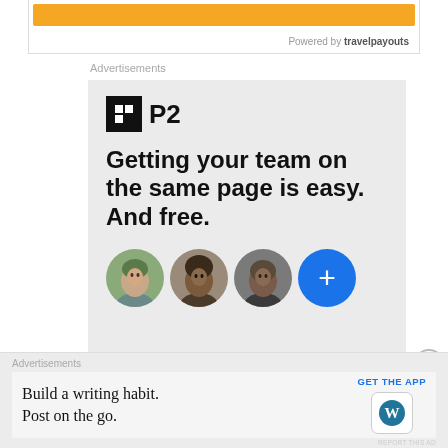[Figure (screenshot): TravelPayouts widget with orange bar and 'Powered by travelpayouts' text]
Advertisements
[Figure (screenshot): P2 advertisement: logo with H-shaped icon and P2 text, headline 'Getting your team on the same page is easy. And free.' with three person avatars and a blue plus button]
REPORT THIS AD
SHARE THIS:
Advertisements
[Figure (screenshot): WordPress app ad: 'Build a writing habit. Post on the go.' with GET THE APP button and WordPress logo]
REPORT THIS AD